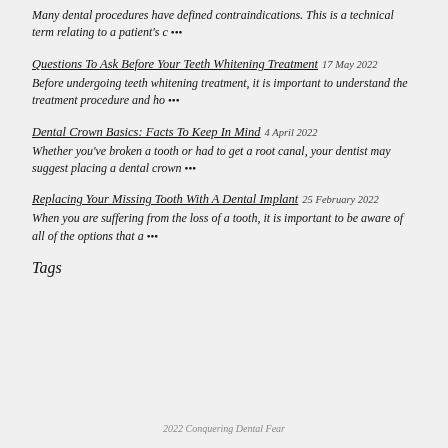Many dental procedures have defined contraindications. This is a technical term relating to a patient's c •••
Questions To Ask Before Your Teeth Whitening Treatment 17 May 2022
Before undergoing teeth whitening treatment, it is important to understand the treatment procedure and ho •••
Dental Crown Basics: Facts To Keep In Mind 4 April 2022
Whether you've broken a tooth or had to get a root canal, your dentist may suggest placing a dental crown •••
Replacing Your Missing Tooth With A Dental Implant 25 February 2022
When you are suffering from the loss of a tooth, it is important to be aware of all of the options that a •••
Tags
2022 Conquering Dental Fear